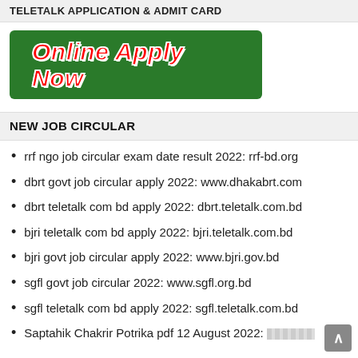TELETALK APPLICATION & ADMIT CARD
[Figure (illustration): Green banner button with red italic bold text reading 'Online Apply Now']
NEW JOB CIRCULAR
rrf ngo job circular exam date result 2022: rrf-bd.org
dbrt govt job circular apply 2022: www.dhakabrt.com
dbrt teletalk com bd apply 2022: dbrt.teletalk.com.bd
bjri teletalk com bd apply 2022: bjri.teletalk.com.bd
bjri govt job circular apply 2022: www.bjri.gov.bd
sgfl govt job circular 2022: www.sgfl.org.bd
sgfl teletalk com bd apply 2022: sgfl.teletalk.com.bd
Saptahik Chakrir Potrika pdf 12 August 2022: [truncated]